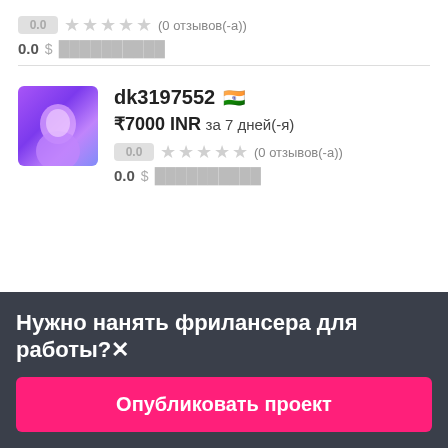0.0  ★★★★★ (0 отзывов(-а))
0.0  $ ██████████
dk3197552 🇮🇳
₹7000 INR за 7 дней(-я)
0.0  ★★★★★ (0 отзывов(-а))
0.0  $ ██████████
Нужно нанять фрилансера для работы?✕
Опубликовать проект